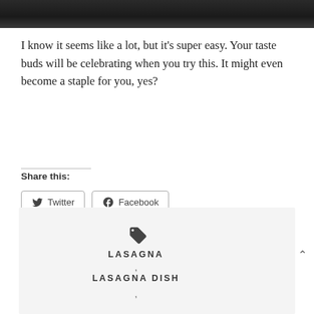[Figure (photo): Dark/black background photo strip at top of page]
I know it seems like a lot, but it's super easy. Your taste buds will be celebrating when you try this. It might even become a staple for you, yes?
Share this:
[Figure (screenshot): Twitter and Facebook share buttons]
Like this:
Loading...
[Figure (infographic): Tag section with tag icon, LASAGNA label, comma, LASAGNA DISH label, comma, and caret up arrow]
LASAGNA
LASAGNA DISH